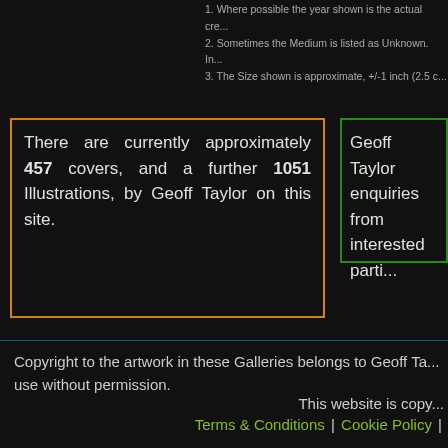1. Where possible the year shown is the actual cre...
2. Sometimes the Medium is listed as Unknown. In...
3. The Size shown is approximate, +/-1 inch (2.5 cm...
There are currently approximately 457 covers, and a further 1051 Illustrations, by Geoff Taylor on this site.
Geoff Taylor enquiries from interested parti...
Copyright to the artwork in these Galleries belongs to Geoff Ta... use without permission.
This website is copy...
Terms & Conditions | Cookie Policy |